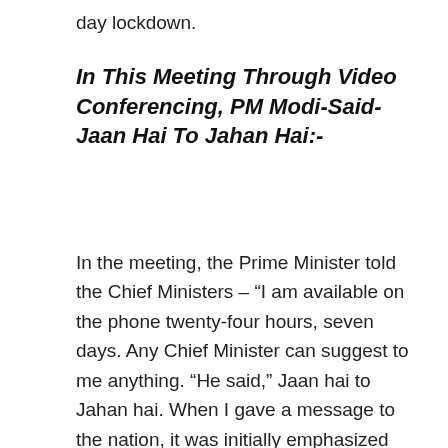day lockdown.
In This Meeting Through Video Conferencing, PM Modi-Said- Jaan Hai To Jahan Hai:-
In the meeting, the Prime Minister told the Chief Ministers – “I am available on the phone twenty-four hours, seven days. Any Chief Minister can suggest to me anything. “He said,” Jaan hai to Jahan hai. When I gave a message to the nation, it was initially emphasized that to save the life of every citizen, following lockdown and social distancing is very important. Most of the people of the country understood this and lived in homes and performed their duties. Now for the bright